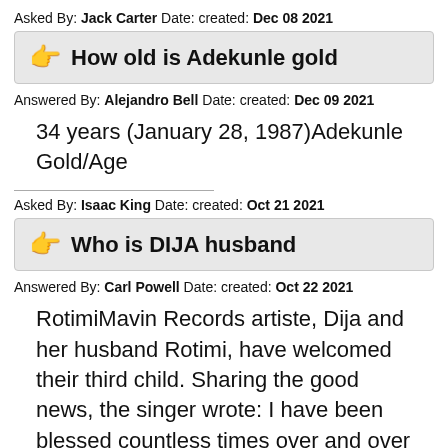Asked By: Jack Carter Date: created: Dec 08 2021
How old is Adekunle gold
Answered By: Alejandro Bell Date: created: Dec 09 2021
34 years (January 28, 1987)Adekunle Gold/Age
Asked By: Isaac King Date: created: Oct 21 2021
Who is DIJA husband
Answered By: Carl Powell Date: created: Oct 22 2021
RotimiMavin Records artiste, Dija and her husband Rotimi, have welcomed their third child. Sharing the good news, the singer wrote: I have been blessed countless times over and over again. Alhamdullilah.